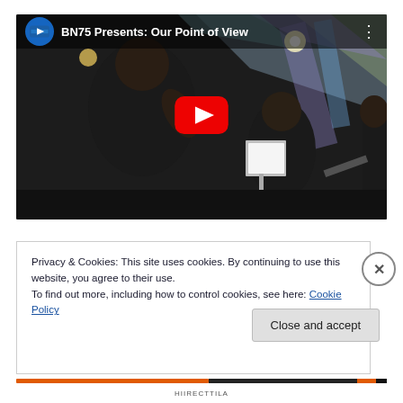[Figure (screenshot): YouTube video embed showing 'BN75 Presents: Our Point of View' with musicians on stage, a large red YouTube play button in the center, and a channel avatar with the video title in the top bar.]
Privacy & Cookies: This site uses cookies. By continuing to use this website, you agree to their use.
To find out more, including how to control cookies, see here: Cookie Policy
Close and accept
HIIRECTTILA